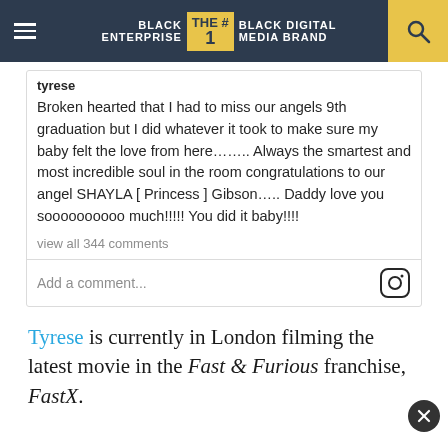BLACK ENTERPRISE THE #1 BLACK DIGITAL MEDIA BRAND
tyrese
Broken hearted that I had to miss our angels 9th graduation but I did whatever it took to make sure my baby felt the love from here…….. Always the smartest and most incredible soul in the room congratulations to our angel SHAYLA [ Princess ] Gibson….. Daddy love you soooooooooo much!!!!! You did it baby!!!!
view all 344 comments
Add a comment...
Tyrese is currently in London filming the latest movie in the Fast & Furious franchise, FastX.